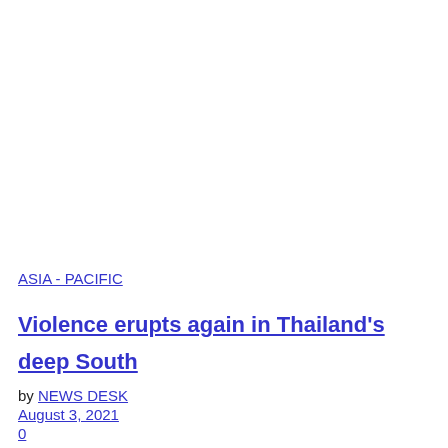ASIA - PACIFIC
Violence erupts again in Thailand's deep South
by NEWS DESK
August 3, 2021
0
Thailand's interminable religious conflict between primarily Buddhist authorities and Muslim separatists in the southernmost region erupted in violence again in